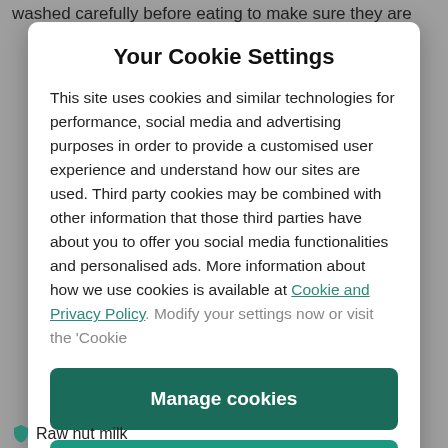washed carefully before eating to make sure they are
Your Cookie Settings
This site uses cookies and similar technologies for performance, social media and advertising purposes in order to provide a customised user experience and understand how our sites are used. Third party cookies may be combined with other information that those third parties have about you to offer you social media functionalities and personalised ads. More information about how we use cookies is available at Cookie and Privacy Policy. Modify your settings now or visit the ‘Cookie
Manage cookies
Yes I accept
Raw nut milk